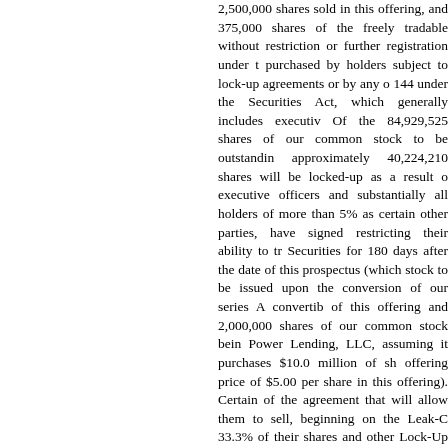2,500,000 shares sold in this offering, and 375,000 shares of the freely tradable without restriction or further registration under purchased by holders subject to lock-up agreements or by any o 144 under the Securities Act, which generally includes executiv Of the 84,929,525 shares of our common stock to be outstandin approximately 40,224,210 shares will be locked-up as a result o executive officers and substantially all holders of more than 5% as certain other parties, have signed restricting their ability to tr Securities for 180 days after the date of this prospectus (which stock to be issued upon the conversion of our series A convertib of this offering and 2,000,000 shares of our common stock bein Power Lending, LLC, assuming it purchases $10.0 million of sh offering price of $5.00 per share in this offering). Certain of the agreement that will allow them to sell, beginning on the Leak-C 33.3% of their shares and other Lock-Up Securities in any rolli the traded volume on Nasdaq. Holders subject to this version of such lock-up upon the earlier of (i) the 90th day after the Leak- meeting of certain stock price and trading volume thresholds, w 10th trading day after the Leak-Out Period Commencement Dat Substantially all of the remaining approximately 44,705,315 sha be affiliates (at the time of or at any time during the three mont in a Regulation A offering and are freely transferable or are rest were issued in private transactions not involving a public offeri least one year. All of these remaining shares are currently eligib
Rule 144
In general, under Rule 144 as currently in effect, a person w stock beneficially for at least six months is entitled to sell, with shares that does not exceed the greater of the then average weel